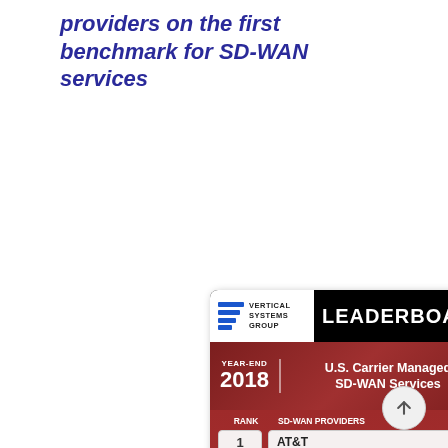providers on the first benchmark for SD-WAN services
[Figure (infographic): Vertical Systems Group Leaderboard for Year-End 2018 U.S. Carrier Managed SD-WAN Services. Rankings: 1. AT&T, 2. Hughes, 3. Verizon, 4. Windstream, 5. CenturyLink, 6. Aryaka, 7. Fusion, 8. Comcast (partially visible)]